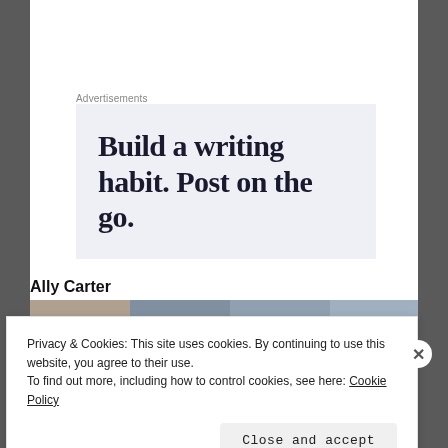Advertisements
[Figure (other): Advertisement banner with text 'Build a writing habit. Post on the go.' on a light blue-gray background]
Ally Carter
[Figure (photo): Partial image strip showing book covers or author photos, partially obscured by cookie banner]
Privacy & Cookies: This site uses cookies. By continuing to use this website, you agree to their use.
To find out more, including how to control cookies, see here: Cookie Policy
Close and accept